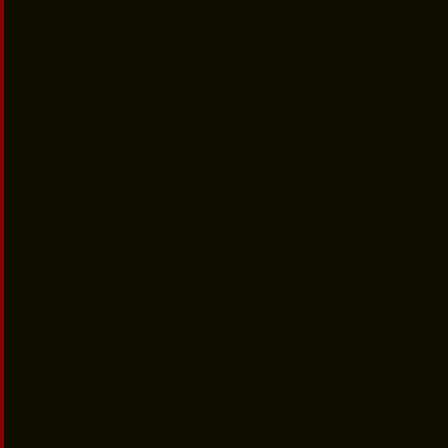bravest and most diligent fighter pilots have applied for this most prestigious opportunity to test the most state of the art technology mankind has at his disposal. Project Aries 3D 64 is under development. This is Pre-Alpha software. It is not complete. It is not fun.
Testing is required to:
1) Make it complete
2) Make it fun.
Controls: Keyboard & Mouse, Joystick and Controller support is available.
What's required of the test pilot?
1) Identify any bugs with current version
2) Explain what you liked and didn't like
3) Suggest improvement to the current version
4) Report your findings below. Be detailed and informative. Check your firearms and attitude at the door.
How to play: NOTE: It is recommended you view the key controls under options before playing.
1) Select Simulator from the main menu.
2) Choose your difficulty.
3) Click launch